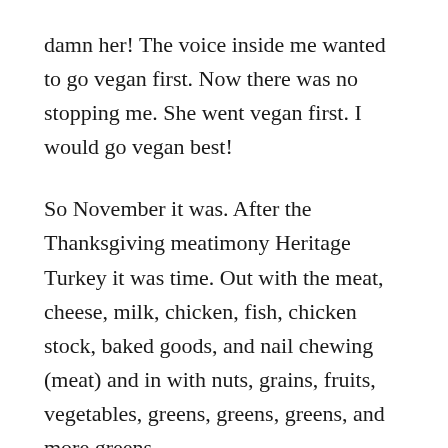damn her! The voice inside me wanted to go vegan first. Now there was no stopping me. She went vegan first. I would go vegan best!
So November it was. After the Thanksgiving meatimony Heritage Turkey it was time. Out with the meat, cheese, milk, chicken, fish, chicken stock, baked goods, and nail chewing (meat) and in with nuts, grains, fruits, vegetables, greens, greens, greens, and more greens.
The first few weeks were a little rocky. I struggled with commitment. Was I totally vegan, vegan on the weekdays, vegan on ash Wednesday, or vegan vegan, like a religious thing? If a little chicken stock ended up